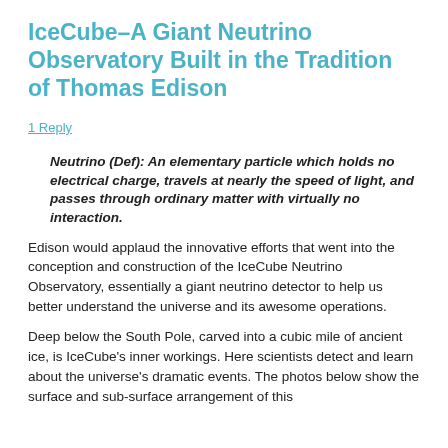IceCube–A Giant Neutrino Observatory Built in the Tradition of Thomas Edison
1 Reply
Neutrino (Def): An elementary particle which holds no electrical charge, travels at nearly the speed of light, and passes through ordinary matter with virtually no interaction.
Edison would applaud the innovative efforts that went into the conception and construction of the IceCube Neutrino Observatory, essentially a giant neutrino detector to help us better understand the universe and its awesome operations.
Deep below the South Pole, carved into a cubic mile of ancient ice, is IceCube's inner workings. Here scientists detect and learn about the universe's dramatic events. The photos below show the surface and sub-surface arrangement of this